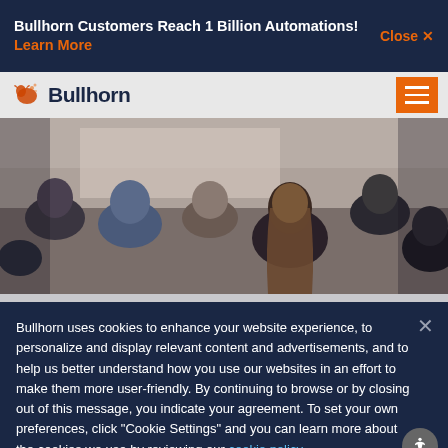Bullhorn Customers Reach 1 Billion Automations! Learn More   Close ×
[Figure (screenshot): Bullhorn logo with bull icon and orange hamburger menu button on gray nav bar]
[Figure (photo): Audience of people seated from behind at a conference or event, viewed from behind]
Bullhorn uses cookies to enhance your website experience, to personalize and display relevant content and advertisements, and to help us better understand how you use our websites in an effort to make them more user-friendly. By continuing to browse or by closing out of this message, you indicate your agreement. To set your own preferences, click "Cookie Settings" and you can learn more about the cookies we use by reviewing our cookie policy.